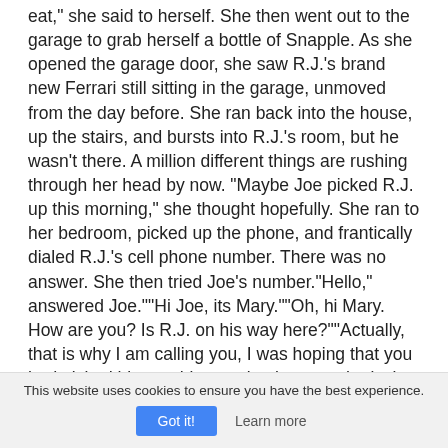eat," she said to herself. She then went out to the garage to grab herself a bottle of Snapple. As she opened the garage door, she saw R.J.'s brand new Ferrari still sitting in the garage, unmoved from the day before. She ran back into the house, up the stairs, and bursts into R.J.'s room, but he wasn't there. A million different things are rushing through her head by now. "Maybe Joe picked R.J. up this morning," she thought hopefully. She ran to her bedroom, picked up the phone, and frantically dialed R.J.'s cell phone number. There was no answer. She then tried Joe's number."Hello," answered Joe.""Hi Joe, its Mary.""Oh, hi Mary. How are you? Is R.J. on his way here?""Actually, that is why I am calling you, I was hoping that you had picked him up this morning because he isn't here and his car is still in the garage.""No, I didn't, and I haven't heard from him either, which isn't like him at all," replied
This website uses cookies to ensure you have the best experience.
Got it!
Learn more